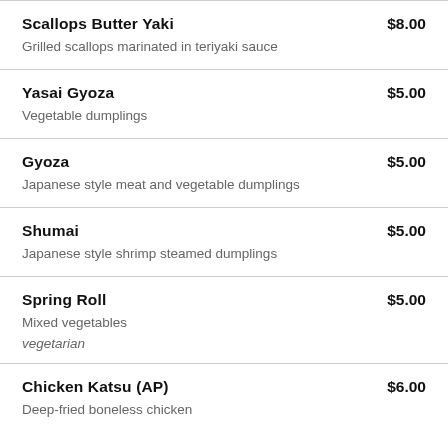Scallops Butter Yaki $8.00 — Grilled scallops marinated in teriyaki sauce
Yasai Gyoza $5.00 — Vegetable dumplings
Gyoza $5.00 — Japanese style meat and vegetable dumplings
Shumai $5.00 — Japanese style shrimp steamed dumplings
Spring Roll $5.00 — Mixed vegetables — vegetarian
Chicken Katsu (AP) $6.00 — Deep-fried boneless chicken